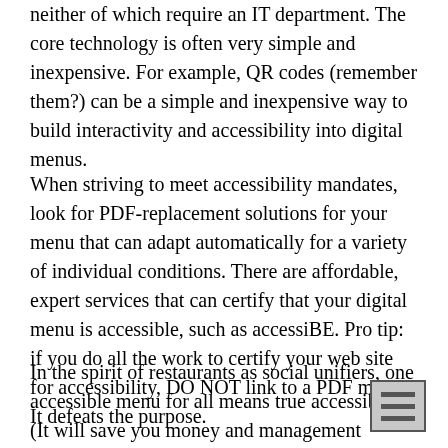neither of which require an IT department. The core technology is often very simple and inexpensive. For example, QR codes (remember them?) can be a simple and inexpensive way to build interactivity and accessibility into digital menus.
When striving to meet accessibility mandates, look for PDF-replacement solutions for your menu that can adapt automatically for a variety of individual conditions. There are affordable, expert services that can certify that your digital menu is accessible, such as accessiBE. Pro tip: if you do all the work to certify your web site for accessibility, DO NOT link to a PDF menu. It defeats the purpose.
In the spirit of restaurants as social unifiers, one accessible menu for all means true accessibility. (It will save you money and management overhead.)